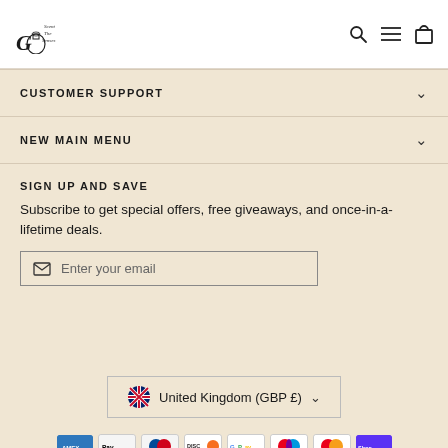[Figure (logo): Scent The Senses brand logo with decorative script and bottle illustration]
CUSTOMER SUPPORT
NEW MAIN MENU
SIGN UP AND SAVE
Subscribe to get special offers, free giveaways, and once-in-a-lifetime deals.
Enter your email
United Kingdom (GBP £)
[Figure (other): Payment method icons: American Express, Apple Pay, Diners Club, Discover, Google Pay, Maestro, Mastercard, Shop Pay]